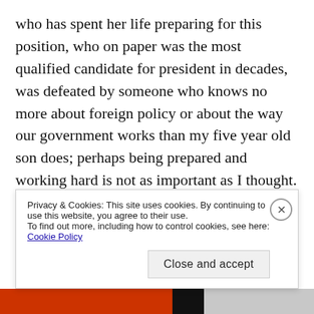who has spent her life preparing for this position, who on paper was the most qualified candidate for president in decades, was defeated by someone who knows no more about foreign policy or about the way our government works than my five year old son does; perhaps being prepared and working hard is not as important as I thought. Our children are watching. I can see the wheels turning in son's head as he thinks, “Perhaps bravado and making things up as you go along is the way to go. It is certainly an easier path. Why work
Privacy & Cookies: This site uses cookies. By continuing to use this website, you agree to their use.
To find out more, including how to control cookies, see here: Cookie Policy
Close and accept